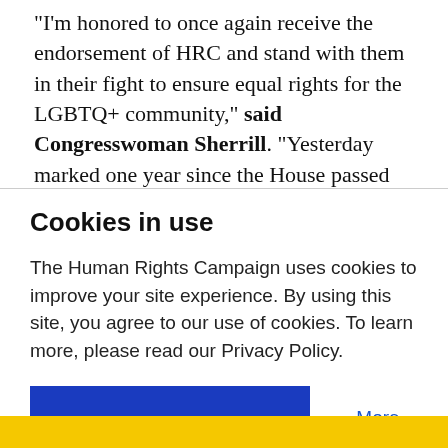"I'm honored to once again receive the endorsement of HRC and stand with them in their fight to ensure equal rights for the LGBTQ+ community," said Congresswoman Sherrill. "Yesterday marked one year since the House passed the Equality Act. I was
Cookies in use
The Human Rights Campaign uses cookies to improve your site experience. By using this site, you agree to our use of cookies. To learn more, please read our Privacy Policy.
Accept
More Information